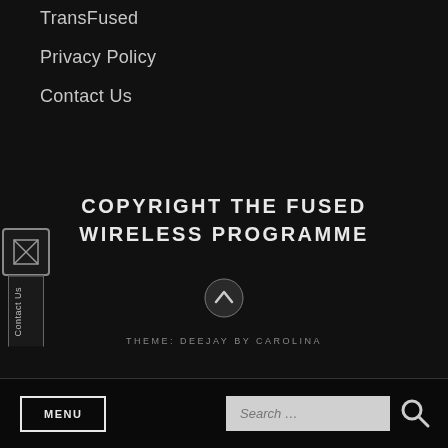TransFused
Privacy Policy
Contact Us
[Figure (other): Vertical sidebar widget with email/contact icon and rotated 'Contact Us' label]
COPYRIGHT THE FUSED WIRELESS PROGRAMME
[Figure (other): Circle button with upward chevron arrow]
THEME: DEEJAY BY CAROLINA
MENU
Search ...